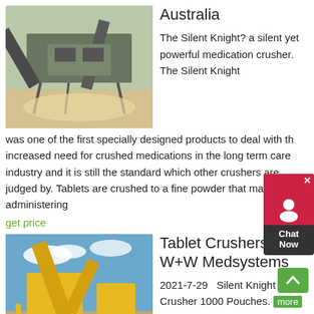[Figure (photo): Industrial stone crushing equipment with conveyor belts and machinery outdoors]
Australia
The Silent Knight? a silent yet powerful medication crusher. The Silent Knight was one of the first specially designed products to deal with the increased need for crushed medications in the long term care industry and it is still the standard which other crushers are judged by. Tablets are crushed to a fine powder that makes administering
get price
[Figure (photo): Yellow industrial crushing and screening plant equipment outdoors on gravel]
Tablet Crushers W+W Medsystems
2021-7-29   Silent Knight Pill Crusher 1000 Pouches. more Quick View . Silent Knight Tablet